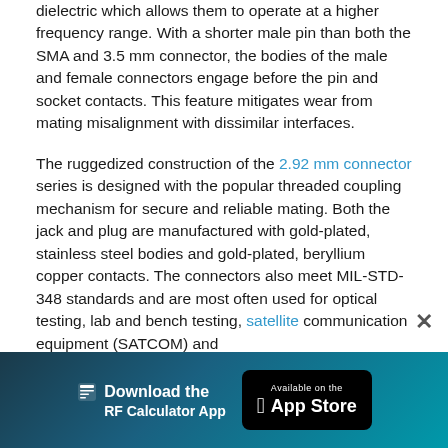dielectric which allows them to operate at a higher frequency range. With a shorter male pin than both the SMA and 3.5 mm connector, the bodies of the male and female connectors engage before the pin and socket contacts. This feature mitigates wear from mating misalignment with dissimilar interfaces.
The ruggedized construction of the 2.92 mm connector series is designed with the popular threaded coupling mechanism for secure and reliable mating. Both the jack and plug are manufactured with gold-plated, stainless steel bodies and gold-plated, beryllium copper contacts. The connectors also meet MIL-STD-348 standards and are most often used for optical testing, lab and bench testing, satellite communication equipment (SATCOM) and
[Figure (other): App download banner: 'Download the RF Calculator App' with an Apple App Store button, dark teal gradient background]